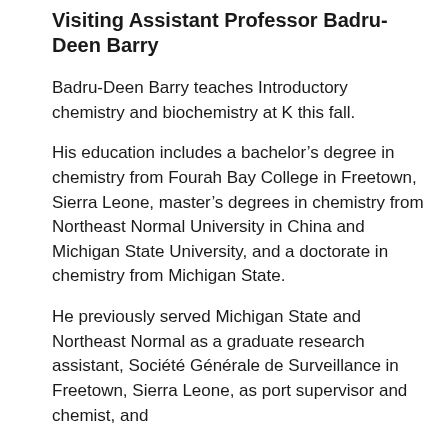Visiting Assistant Professor Badru-Deen Barry
Badru-Deen Barry teaches Introductory chemistry and biochemistry at K this fall.
His education includes a bachelor’s degree in chemistry from Fourah Bay College in Freetown, Sierra Leone, master’s degrees in chemistry from Northeast Normal University in China and Michigan State University, and a doctorate in chemistry from Michigan State.
He previously served Michigan State and Northeast Normal as a graduate research assistant, Société Générale de Surveillance in Freetown, Sierra Leone, as port supervisor and chemist, and